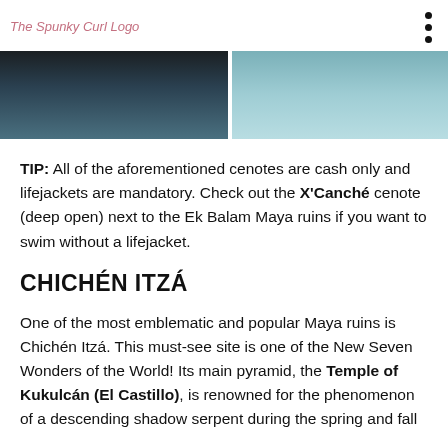The Spunky Curl Logo
[Figure (photo): Split hero image showing two teal/dark toned landscape or water photographs side by side]
TIP: All of the aforementioned cenotes are cash only and lifejackets are mandatory. Check out the X'Canché cenote (deep open) next to the Ek Balam Maya ruins if you want to swim without a lifejacket.
CHICHÉN ITZÁ
One of the most emblematic and popular Maya ruins is Chichén Itzá. This must-see site is one of the New Seven Wonders of the World! Its main pyramid, the Temple of Kukulcán (El Castillo), is renowned for the phenomenon of a descending shadow serpent during the spring and fall